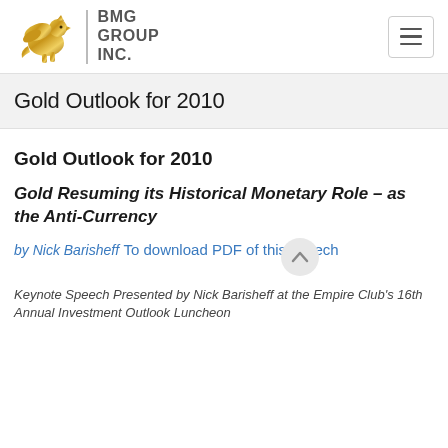[Figure (logo): BMG Group Inc. logo with golden griffin/lion heraldic animal and text BMG GROUP INC.]
Gold Outlook for 2010
Gold Outlook for 2010
Gold Resuming its Historical Monetary Role – as the Anti-Currency
by Nick Barisheff
To download PDF of this speech
Keynote Speech Presented by Nick Barisheff at the Empire Club's 16th Annual Investment Outlook Luncheon